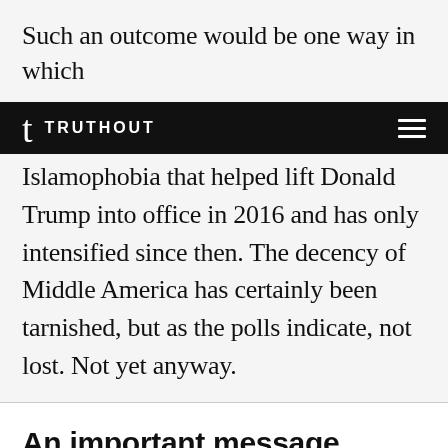Such an outcome would be one way in which
t TRUTHOUT
Islamophobia that helped lift Donald Trump into office in 2016 and has only intensified since then. The decency of Middle America has certainly been tarnished, but as the polls indicate, not lost. Not yet anyway.
An important message before you go
The lion's share of Truthout's operating